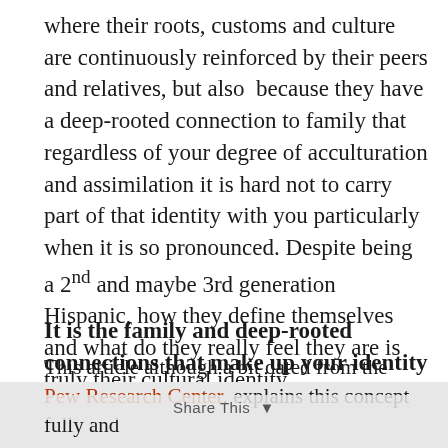where their roots, customs and culture are continuously reinforced by their peers and relatives, but also because they have a deep-rooted connection to family that regardless of your degree of acculturation and assimilation it is hard not to carry part of that identity with you particularly when it is so pronounced. Despite being a 2nd and maybe 3rd generation Hispanic, how they define themselves and what do they really feel they are is truly their cultural identity.
It is the family and deep-rooted connections that make up your identity and give you that sense of belonging.
This article although a bit dated from the Pew Research Center, explains this concept fully and